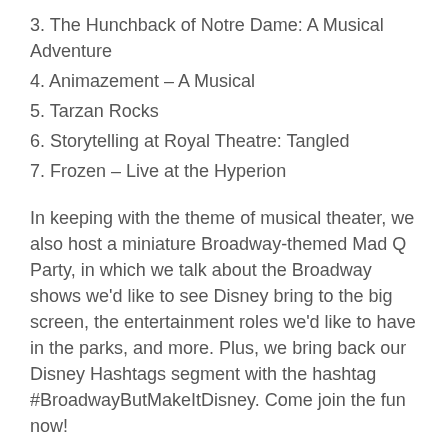3. The Hunchback of Notre Dame: A Musical Adventure
4. Animazement – A Musical
5. Tarzan Rocks
6. Storytelling at Royal Theatre: Tangled
7. Frozen – Live at the Hyperion
In keeping with the theme of musical theater, we also host a miniature Broadway-themed Mad Q Party, in which we talk about the Broadway shows we'd like to see Disney bring to the big screen, the entertainment roles we'd like to have in the parks, and more. Plus, we bring back our Disney Hashtags segment with the hashtag #BroadwayButMakeItDisney. Come join the fun now!
Be sure to check out David's podcast E-Ticket to Broadway, on which he interviews Broadway stars about their love of the Disney theme parks. You also can find him on Instagram or on his website, where you can let